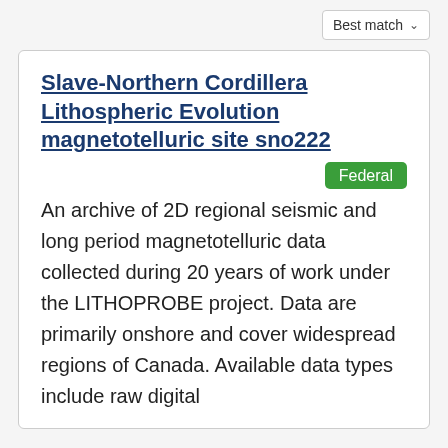Best match
Slave-Northern Cordillera Lithospheric Evolution magnetotelluric site sno222
Federal
An archive of 2D regional seismic and long period magnetotelluric data collected during 20 years of work under the LITHOPROBE project. Data are primarily onshore and cover widespread regions of Canada. Available data types include raw digital